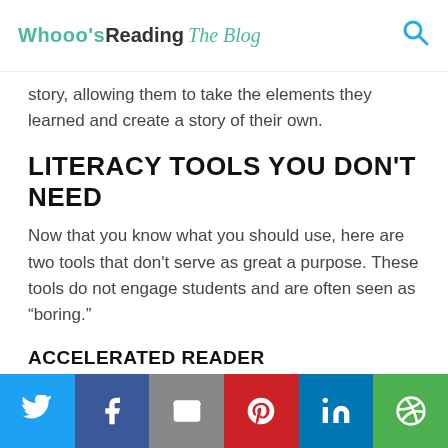Whooo's Reading The Blog
story, allowing them to take the elements they learned and create a story of their own.
LITERACY TOOLS YOU DON'T NEED
Now that you know what you should use, here are two tools that don't serve as great a purpose. These tools do not engage students and are often seen as “boring.”
ACCELERATED READER
While many schools have adapted this expensive program (helpful add-ons make it even pricier) within their school over the last decade, a variety of new literacy-focused apps and tools have come to market
Twitter | Facebook | Email | Pinterest | LinkedIn | Other